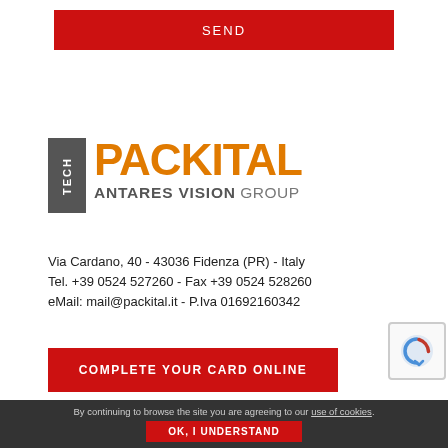SEND
[Figure (logo): TECH PACKITAL ANTARES VISION GROUP logo]
Via Cardano, 40 - 43036 Fidenza (PR) - Italy
Tel. +39 0524 527260 - Fax +39 0524 528260
eMail: mail@packital.it - P.Iva 01692160342
COMPLETE YOUR CARD ONLINE
By continuing to browse the site you are agreeing to our use of cookies.
OK, I UNDERSTAND